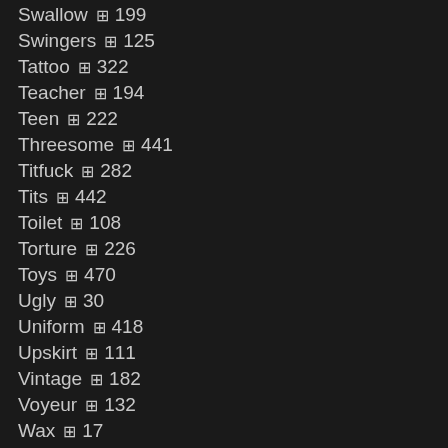Swallow 🎞 199
Swingers 🎞 125
Tattoo 🎞 322
Teacher 🎞 194
Teen 🎞 222
Threesome 🎞 441
Titfuck 🎞 282
Tits 🎞 442
Toilet 🎞 108
Torture 🎞 226
Toys 🎞 470
Ugly 🎞 30
Uniform 🎞 418
Upskirt 🎞 111
Vintage 🎞 182
Voyeur 🎞 132
Wax 🎞 17